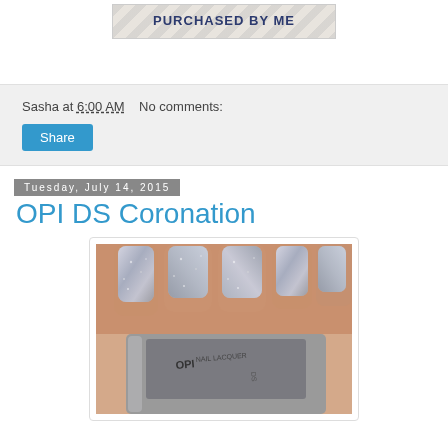[Figure (other): Badge graphic with chevron/zigzag background pattern and bold dark blue text reading 'PURCHASED BY ME']
Sasha at 6:00 AM    No comments:
Share
Tuesday, July 14, 2015
OPI DS Coronation
[Figure (photo): Close-up photo of manicured nails painted with OPI DS Coronation silver holographic glitter nail polish, with the OPI nail lacquer bottle visible in the foreground.]